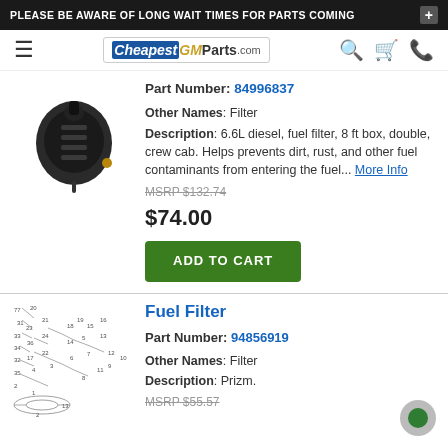PLEASE BE AWARE OF LONG WAIT TIMES FOR PARTS COMING
[Figure (logo): CheapestGMParts.com website logo and navigation bar with hamburger menu, search, cart, and phone icons]
[Figure (photo): Black fuel filter part photo]
Part Number: 84996837
Other Names: Filter
Description: 6.6L diesel, fuel filter, 8 ft box, double, crew cab. Helps prevents dirt, rust, and other fuel contaminants from entering the fuel... More Info
MSRP $132.74
$74.00
ADD TO CART
Fuel Filter
[Figure (engineering-diagram): Fuel filter exploded parts diagram with numbered components]
Part Number: 94856919
Other Names: Filter
Description: Prizm.
MSRP $55.57